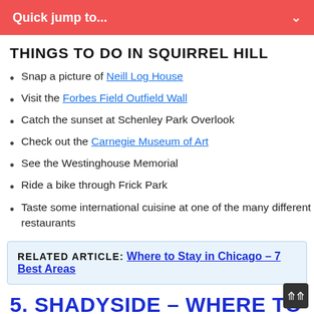Quick jump to...
THINGS TO DO IN SQUIRREL HILL
Snap a picture of Neill Log House
Visit the Forbes Field Outfield Wall
Catch the sunset at Schenley Park Overlook
Check out the Carnegie Museum of Art
See the Westinghouse Memorial
Ride a bike through Frick Park
Taste some international cuisine at one of the many different restaurants
RELATED ARTICLE: Where to Stay in Chicago – 7 Best Areas
5. SHADYSIDE – WHERE TO STAY IN PITTSBURGH FOR